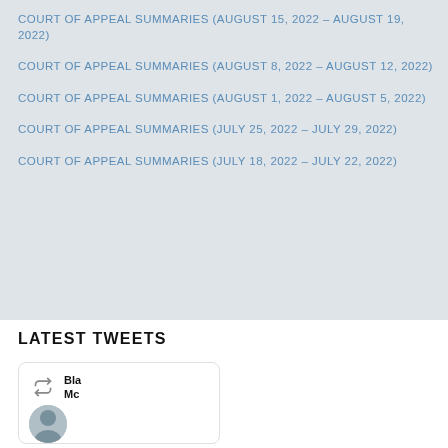COURT OF APPEAL SUMMARIES (AUGUST 15, 2022 – AUGUST 19, 2022)
COURT OF APPEAL SUMMARIES (AUGUST 8, 2022 – AUGUST 12, 2022)
COURT OF APPEAL SUMMARIES (AUGUST 1, 2022 – AUGUST 5, 2022)
COURT OF APPEAL SUMMARIES (JULY 25, 2022 – JULY 29, 2022)
COURT OF APPEAL SUMMARIES (JULY 18, 2022 – JULY 22, 2022)
LATEST TWEETS
[Figure (screenshot): Tweet card showing a retweet icon and user name starting with 'Bla Mc' with a person's avatar photo below]